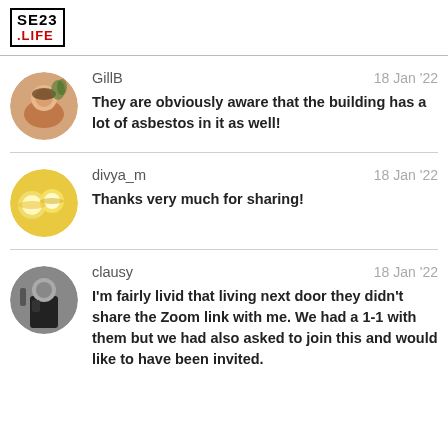SE23 .LIFE
GillB — 18 Jan '22
They are obviously aware that the building has a lot of asbestos in it as well!
divya_m — 18 Jan '22
Thanks very much for sharing!
clausy — 18 Jan '22
I'm fairly livid that living next door they didn't share the Zoom link with me. We had a 1-1 with them but we had also asked to join this and would like to have been invited.